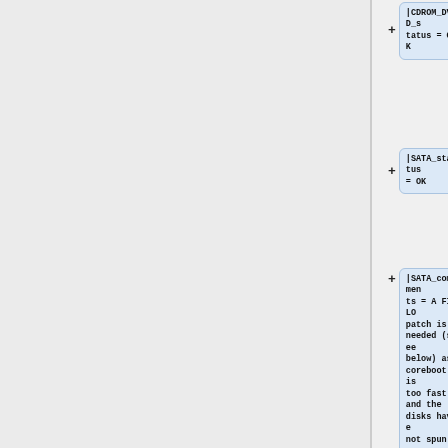|CDROM_DVD_status = OK
|SATA_status = OK
|SATA_comments = A FILO patch is needed (see below) as coreboot is too fast and the disks have not spun up yet when coreboot is done.
|USB_status = OK